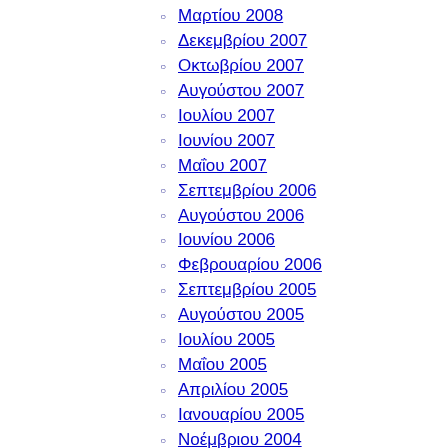Μαρτίου 2008
Δεκεμβρίου 2007
Οκτωβρίου 2007
Αυγούστου 2007
Ιουλίου 2007
Ιουνίου 2007
Μαΐου 2007
Σεπτεμβρίου 2006
Αυγούστου 2006
Ιουνίου 2006
Φεβρουαρίου 2006
Σεπτεμβρίου 2005
Αυγούστου 2005
Ιουλίου 2005
Μαΐου 2005
Απριλίου 2005
Ιανουαρίου 2005
Νοέμβριου 2004
Σεπτεμβρίου 2004
Ιουνίου 2004
Απριλίου 2004
Δεκεμβρίου 2003
Οκτωβρίου 2003
Σεπτεμβρίου 2003
Αυγούστου 2003